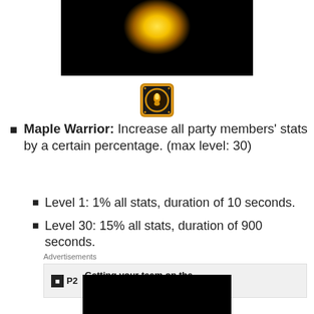[Figure (photo): Dark image with bright yellow/gold glowing light burst at top center against black background]
[Figure (illustration): Pixel art icon of Maple Warrior skill — circular badge with orange/gold border, dark background, flame and character figure in center]
Maple Warrior: Increase all party members' stats by a certain percentage. (max level: 30)
Level 1: 1% all stats, duration of 10 seconds.
Level 30: 15% all stats, duration of 900 seconds.
Advertisements
[Figure (screenshot): Advertisement banner for P2 app: Getting your team on the same page is easy. And free.]
[Figure (photo): Black image at bottom of page]